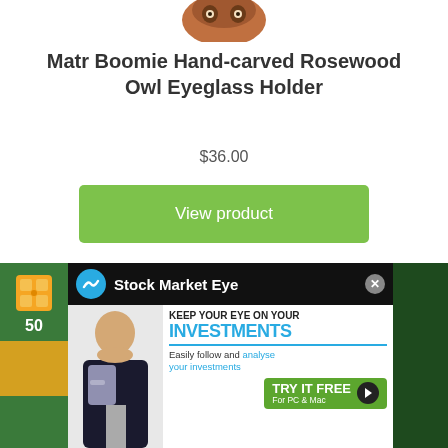[Figure (photo): Top portion of a rosewood owl figurine product image, cropped at bottom of object]
Matr Boomie Hand-carved Rosewood Owl Eyeglass Holder
$36.00
View product
[Figure (screenshot): Stock Market Eye advertisement banner showing 'KEEP YOUR EYE ON YOUR INVESTMENTS' with a man in suit at laptop, puzzle box background, and 'TRY IT FREE For PC & Mac' button]